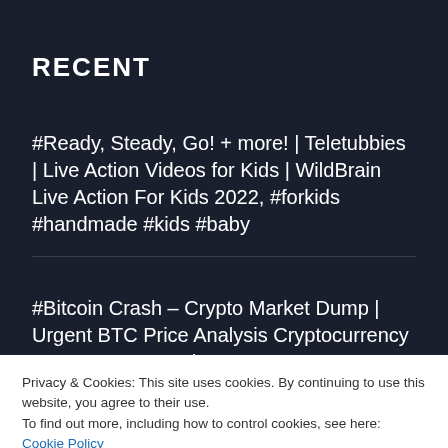RECENT
#Ready, Steady, Go! + more! | Teletubbies | Live Action Videos for Kids | WildBrain Live Action For Kids 2022, #forkids #handmade #kids #baby
#Bitcoin Crash – Crypto Market Dump | Urgent BTC Price Analysis Cryptocurrency Forecast New Tech
Privacy & Cookies: This site uses cookies. By continuing to use this website, you agree to their use.
To find out more, including how to control cookies, see here: Cookie Policy
Close and accept
#How to enable data speed meter on status bar without any application | #ironmantech#shorts #speedometer 2022 New Version